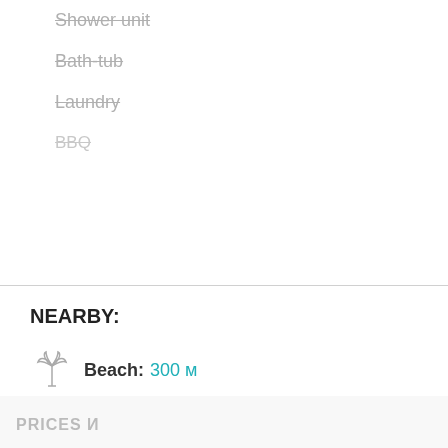Shower unit
Bath-tub
Laundry
BBQ
NEARBY:
Beach: 300 м
City center: 200 м
We use cookies to ensure that we give you the best experience on our website. If you continue, we assume that you consent to receive cookies on our website.
OK
Узнать больше
PRICES И